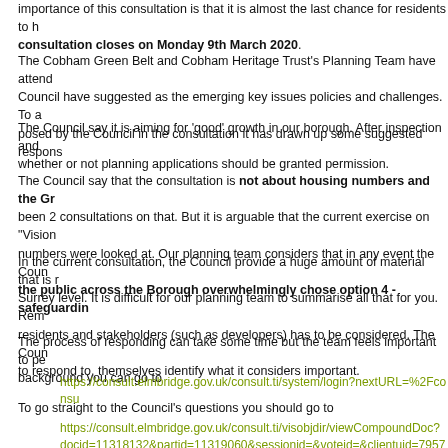importance of this consultation is that it is almost the last chance for residents to h... consultation closes on Monday 9th March 2020.
The Cobham Green Belt and Cobham Heritage Trust's Planning Team have attended... Council have suggested as the emerging key issues policies and challenges. To a... posed by the Council in the consultation it has drawn up some suggested respons...
The Council say it is aiming for 'good' growth in our borough. After inspection and... whether or not planning applications should be granted permission.
The Council say that the consultation is not about housing numbers and the Gr... been 2 consultations on that. But it is arguable that the current exercise on "Vision... numbers were looked at. Our planning team considers that in any event the Counc... the public across the Borough overwhelmingly chose option 4 - safeguardin...
In the current consultation, the Council provide a huge amount of material that is r... Surrey level. It is difficult for our planning team to summarise all that for you. Rem... residents and stakeholders (such as developers) has to be considered. The Coun... to respond to, themselves identify what it considers important.
The process of responding can take some time but the team feels important to pe... background you can go to
https://consult.elmbridge.gov.uk/consult.ti/system/login?nextURL=%2Fconsu...
To go straight to the Council's questions you should go to
https://consult.elmbridge.gov.uk/consult.ti/visobjdir/viewCompoundDoc?docid=11318132&partid=11319060&sessionid=&voteid=&clientuid=7957921...